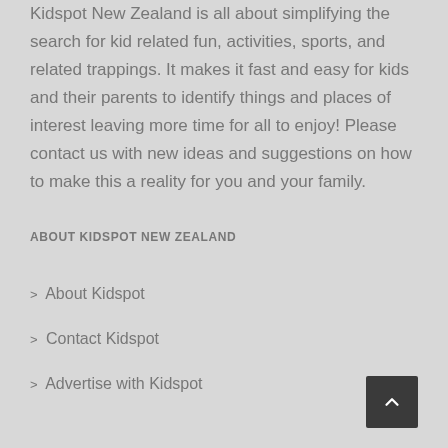Kidspot New Zealand is all about simplifying the search for kid related fun, activities, sports, and related trappings. It makes it fast and easy for kids and their parents to identify things and places of interest leaving more time for all to enjoy! Please contact us with new ideas and suggestions on how to make this a reality for you and your family.
ABOUT KIDSPOT NEW ZEALAND
> About Kidspot
> Contact Kidspot
> Advertise with Kidspot